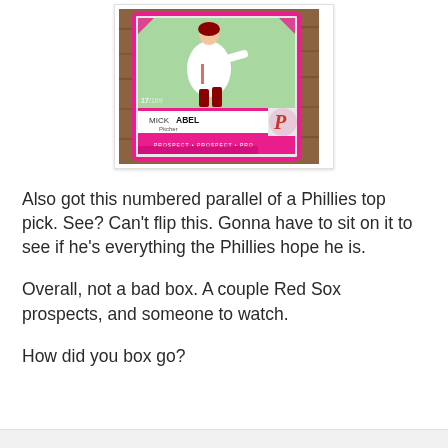[Figure (photo): A pink-bordered numbered parallel baseball card of Mick Abel, Pitcher for the Philadelphia Phillies (PHI), numbered 17x/169, with the Phillies 'P' logo on the card]
Also got this numbered parallel of a Phillies top pick. See? Can't flip this. Gonna have to sit on it to see if he's everything the Phillies hope he is.
Overall, not a bad box. A couple Red Sox prospects, and someone to watch.
How did you box go?